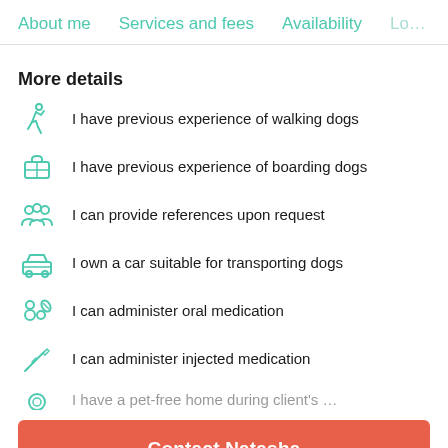About me  Services and fees  Availability  Lo…
More details
I have previous experience of walking dogs
I have previous experience of boarding dogs
I can provide references upon request
I own a car suitable for transporting dogs
I can administer oral medication
I can administer injected medication
Contact Natasha
FREE cancellation! see more